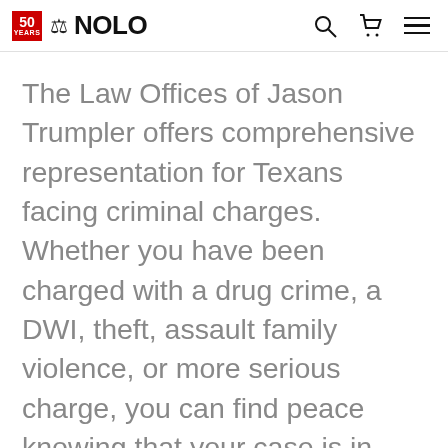NOLO — 50 Years
The Law Offices of Jason Trumpler offers comprehensive representation for Texans facing criminal charges. Whether you have been charged with a drug crime, a DWI, theft, assault family violence, or more serious charge, you can find peace knowing that your case is in good hands with Attorney Jason Trumpler. When taking on a new case, Attorney Jason Trumpler takes the time to get to know